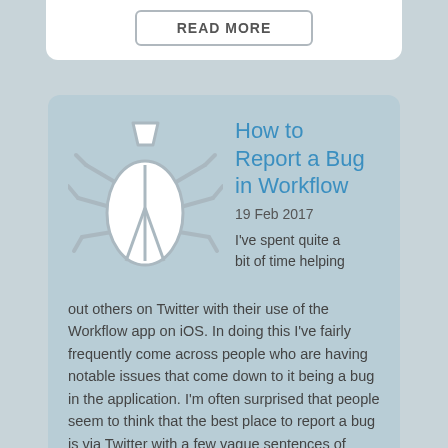READ MORE
How to Report a Bug in Workflow
19 Feb 2017
[Figure (illustration): Bug icon — a stylized beetle/bug drawn in outline style: white oval body with grey line dividing it vertically, small trapezoid head on top, and multiple curved legs on each side]
I've spent quite a bit of time helping out others on Twitter with their use of the Workflow app on iOS. In doing this I've fairly frequently come across people who are having notable issues that come down to it being a bug in the application. I'm often surprised that people seem to think that the best place to report a bug is via Twitter with a few vague sentences of description. To those I'd like to suggest...